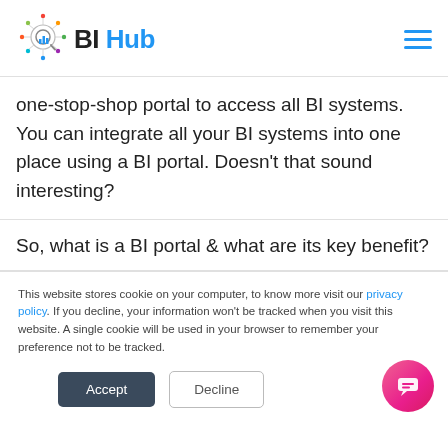BI Hub
one-stop-shop portal to access all BI systems. You can integrate all your BI systems into one place using a BI portal. Doesn't that sound interesting?
So, what is a BI portal & what are its key benefit?
This website stores cookie on your computer, to know more visit our privacy policy. If you decline, your information won't be tracked when you visit this website. A single cookie will be used in your browser to remember your preference not to be tracked.
Accept | Decline